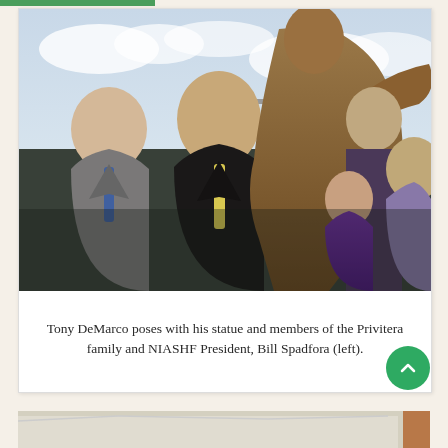[Figure (photo): Tony DeMarco poses with his bronze statue and members of the Privitera family and NIASHF President Bill Spadfora (left). The photo shows several people outdoors next to a boxing statue, including two older men, a young girl in purple, and two younger men.]
Tony DeMarco poses with his statue and members of the Privitera family and NIASHF President, Bill Spadfora (left).
[Figure (photo): Partial view of another photo at the bottom of the page, partially cut off.]